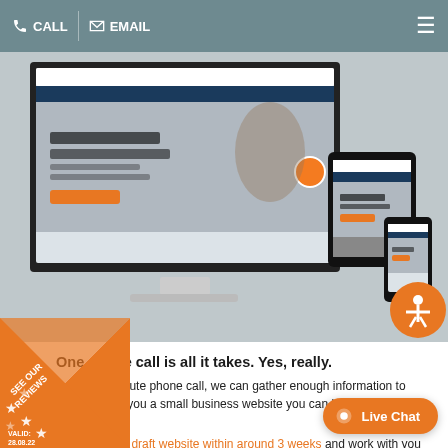CALL  EMAIL
[Figure (screenshot): Screenshot of the Caring website shown on desktop monitor, tablet, and mobile phone devices. The website displays 'Giving care, Building trust.' with a woman in the background.]
One phone call is all it takes. Yes, really.
In one 30-minute phone call, we can gather enough information to start building you a small business website you can be proud of (just like this one!).
We'll create a draft website within around 3 weeks and work with you to tweak the site until it's just right for you. All
[Figure (infographic): Orange diagonal 'SEE OUR REVIEWS' badge with stars and 'VALID: 28.08.22' text]
[Figure (other): Orange 'Live Chat' button with chat bubble icon]